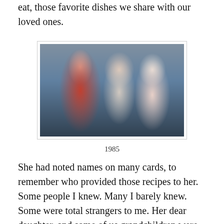eat, those favorite dishes we share with our loved ones.
[Figure (photo): A vintage photograph from 1985 showing three people: a young woman with glasses wearing a red sweater on the left, a baby/toddler in the middle, and an elderly woman with glasses wearing a pink checkered dress on the right, seated in a chair.]
1985
She had noted names on many cards, to remember who provided those recipes to her. Some people I knew. Many I barely knew. Some were total strangers to me. Her dear daughter, and some of us grandchildren were